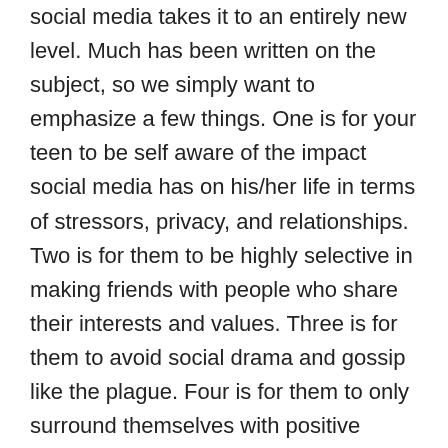social media takes it to an entirely new level. Much has been written on the subject, so we simply want to emphasize a few things. One is for your teen to be self aware of the impact social media has on his/her life in terms of stressors, privacy, and relationships. Two is for them to be highly selective in making friends with people who share their interests and values. Three is for them to avoid social drama and gossip like the plague. Four is for them to only surround themselves with positive influences. Finally, if they're experiencing pain or anxiety from a breakup or no invitation to/acceptance for prom, reassure them that only 2 percent of marriages originate from being high school sweethearts! Now, that's perspective! #choosewisely
3. Too much tech, too little relational engagement. With the addictive nature of our smartphones and